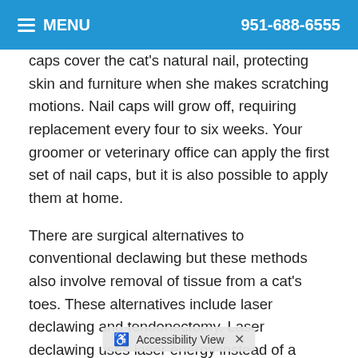MENU  951-688-6555
caps cover the cat's natural nail, protecting skin and furniture when she makes scratching motions. Nail caps will grow off, requiring replacement every four to six weeks. Your groomer or veterinary office can apply the first set of nail caps, but it is also possible to apply them at home.
There are surgical alternatives to conventional declawing but these methods also involve removal of tissue from a cat's toes. These alternatives include laser declawing and tendonectomy. Laser declawing uses laser energy instead of a scalpel or guillotine blade. Tendonectomy removes the tendon that allows cats to control the claw but leaves the claw intact.
Many cats' scratching [Accessibility View] lved with